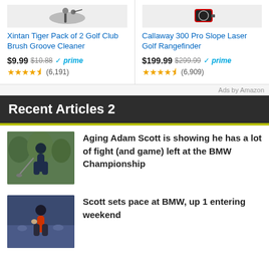[Figure (screenshot): Amazon ad: Xintan Tiger Pack of 2 Golf Club Brush Groove Cleaner, $9.99 (was $10.88), Prime, 4.5 stars, (6,191) reviews]
[Figure (screenshot): Amazon ad: Callaway 300 Pro Slope Laser Golf Rangefinder, $199.99 (was $299.99), Prime, 4.5 stars, (6,909) reviews]
Ads by Amazon
Recent Articles 2
[Figure (photo): Golfer swinging a club outdoors]
Aging Adam Scott is showing he has a lot of fight (and game) left at the BMW Championship
[Figure (photo): Golfer at tournament, crowd in background]
Scott sets pace at BMW, up 1 entering weekend